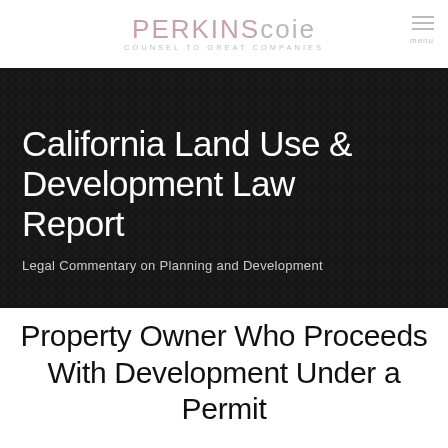PERKINS Coie — COUNSEL TO GREAT COMPANIES
[Figure (illustration): Dark hero banner with dot/grid pattern background containing large white title text 'California Land Use & Development Law Report' and subtitle 'Legal Commentary on Planning and Development']
Property Owner Who Proceeds With Development Under a Permit